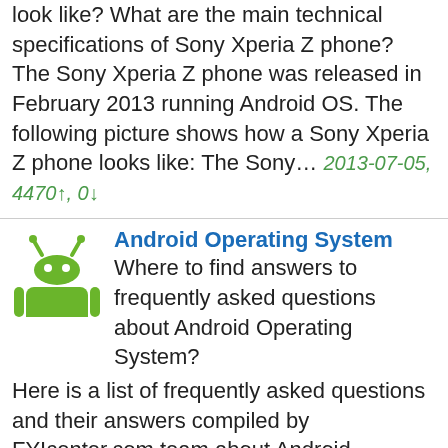look like? What are the main technical specifications of Sony Xperia Z phone? The Sony Xperia Z phone was released in February 2013 running Android OS. The following picture shows how a Sony Xperia Z phone looks like: The Sony... 2013-07-05, 4470↑, 0↓
Android Operating System
Where to find answers to frequently asked questions about Android Operating System? Here is a list of frequently asked questions and their answers compiled by FYIcenter.com team about Android Operating System: What Is Android Operating System What Is Google Android Is Google Following You Android Be... 2013-06-25, 4348↑, 0↓
Apple iPhone 4S Phone Released in 2011
When was Apple iPhone 4S first released? How does Apple iPhone 4S look like? What is...